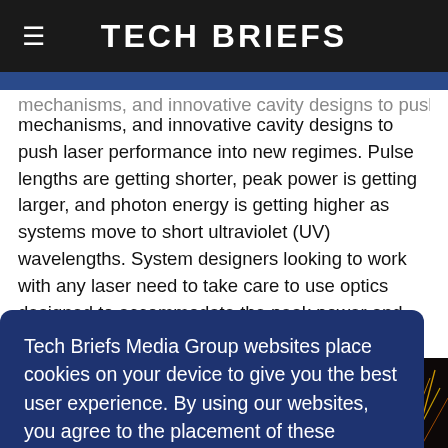Tech Briefs
mechanisms, and innovative cavity designs to push laser performance into new regimes. Pulse lengths are getting shorter, peak power is getting larger, and photon energy is getting higher as systems move to short ultraviolet (UV) wavelengths. System designers looking to work with any laser need to take care to use optics designed to accommodate the peak power and energy
Tech Briefs Media Group websites place cookies on your device to give you the best user experience. By using our websites, you agree to the placement of these cookies. To learn more, read our Privacy Policy.
Accept & Continue
[Figure (photo): Bottom image strip showing laser/optics imagery with blue and green tones, and sparks on the right side]